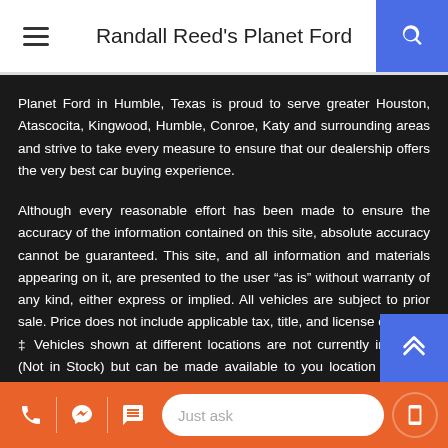Randall Reed's Planet Ford
Planet Ford in Humble, Texas is proud to serve greater Houston, Atascocita, Kingwood, Humble, Conroe, Katy and surrounding areas and strive to take every measure to ensure that our dealership offers the very best car buying experience.
Although every reasonable effort has been made to ensure the accuracy of the information contained on this site, absolute accuracy cannot be guaranteed. This site, and all information and materials appearing on it, are presented to the user “as is” without warranty of any kind, either express or implied. All vehicles are subject to prior sale. Price does not include applicable tax, title, and license charges. ‡ Vehicles shown at different locations are not currently inventory (Not in Stock) but can be made available to you location within a reasonable date from the time of your request, not